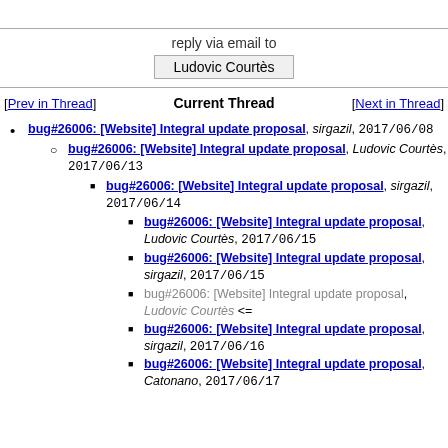reply via email to
Ludovic Courtès
[Prev in Thread]  Current Thread  [Next in Thread]
bug#26006: [Website] Integral update proposal, sirgazil, 2017/06/08
bug#26006: [Website] Integral update proposal, Ludovic Courtès, 2017/06/13
bug#26006: [Website] Integral update proposal, sirgazil, 2017/06/14
bug#26006: [Website] Integral update proposal, Ludovic Courtès, 2017/06/15
bug#26006: [Website] Integral update proposal, sirgazil, 2017/06/15
bug#26006: [Website] Integral update proposal, Ludovic Courtès <=
bug#26006: [Website] Integral update proposal, sirgazil, 2017/06/16
bug#26006: [Website] Integral update proposal, Catonano, 2017/06/17